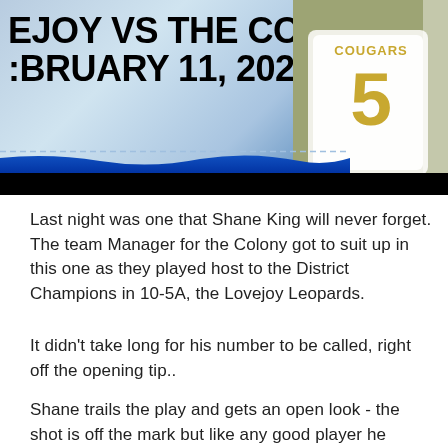[Figure (photo): Sports graphic showing 'LOVEJOY VS THE COLONY FEBRUARY 11, 2022' text overlay on blue background with basketball player wearing Cougars #5 jersey on the right side]
Last night was one that Shane King will never forget. The team Manager for the Colony got to suit up in this one as they played host to the District Champions in 10-5A, the Lovejoy Leopards.
It didn't take long for his number to be called, right off the opening tip..
Shane trails the play and gets an open look - the shot is off the mark but like any good player he follows it up to